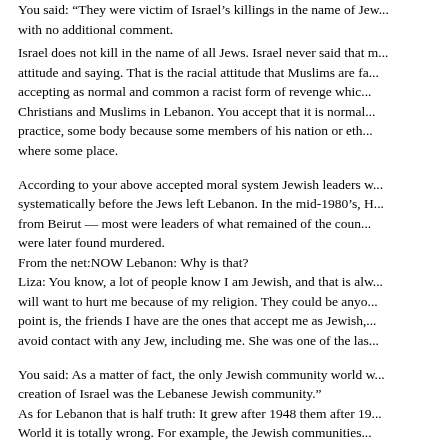You said: "They were victim of Israel's killings in the name of Jew... with no additional comment.
Israel does not kill in the name of all Jews. Israel never said that m... attitude and saying. That is the racial attitude that Muslims are fa... accepting as normal and common a racist form of revenge whic... Christians and Muslims in Lebanon. You accept that it is normal ... practice, some body because some members of his nation or eth... where some place.
According to your above accepted moral system Jewish leaders w... systematically before the Jews left Lebanon. In the mid-1980's, H... from Beirut — most were leaders of what remained of the coun... were later found murdered.
From the net:NOW Lebanon: Why is that?
Liza: You know, a lot of people know I am Jewish, and that is alw... will want to hurt me because of my religion. They could be anyo... point is, the friends I have are the ones that accept me as Jewish,... avoid contact with any Jew, including me. She was one of the las...
You said: As a matter of fact, the only Jewish community world w... creation of Israel was the Lebanese Jewish community."
As for Lebanon that is half truth: It grew after 1948 them after 19... World it is totally wrong. For example, the Jewish communities...